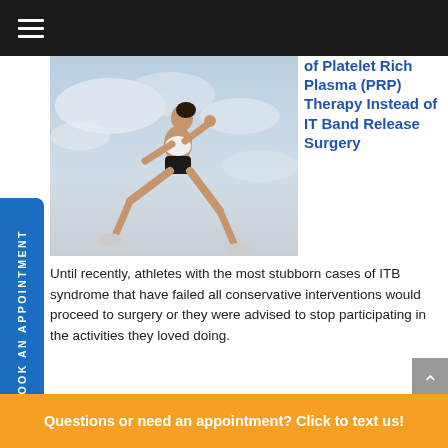BOOK AN APPOINTMENT
[Figure (photo): Athlete jumping in mid-air against a cloudy sky background]
of Platelet Rich Plasma (PRP) Therapy Instead of IT Band Release Surgery
Until recently, athletes with the most stubborn cases of ITB syndrome that have failed all conservative interventions would proceed to surgery or they were advised to stop participating in the activities they loved doing.
Now patients have another option. PRP is becoming
Questions or need an appointment? Click to text us!